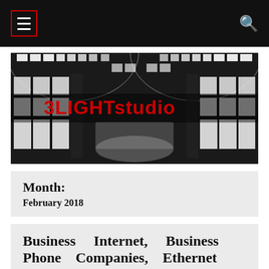[Figure (screenshot): Black navigation bar with red-bordered hamburger menu icon on the left and red search icon on the right]
[Figure (photo): 3D rendered studio space with bright window panels, curved ceiling lights, and circular platform in center. Red text overlay reads '3LIGHTstudio']
Month:
February 2018
Business Internet, Business Phone Companies, Business Ethernet